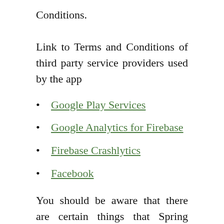Conditions.
Link to Terms and Conditions of third party service providers used by the app
Google Play Services
Google Analytics for Firebase
Firebase Crashlytics
Facebook
You should be aware that there are certain things that Spring House Enterainment Tech. Inc. will not take responsibility for. Certain functions of the app will require the app to have an